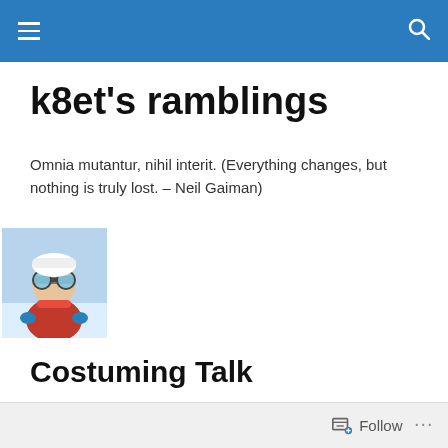[navigation bar with hamburger menu and search icon]
k8et's ramblings
Omnia mutantur, nihil interit. (Everything changes, but nothing is truly lost. – Neil Gaiman)
[Figure (photo): Profile photo of a person wearing goggles and a red scarf in a snowy setting]
Costuming Talk
On to more pressing items ;o)
I'm about to go home and finish working on our costumes.
Follow ...